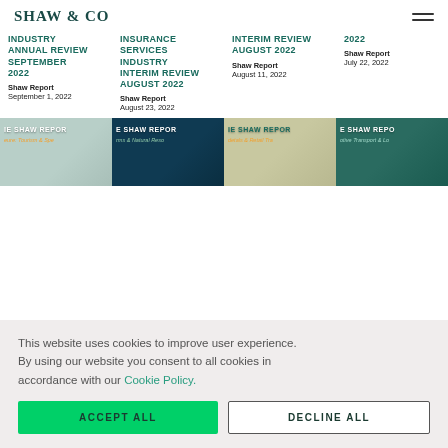SHAW & CO
INDUSTRY ANNUAL REVIEW SEPTEMBER 2022
Shaw Report
September 1, 2022
INSURANCE SERVICES INDUSTRY INTERIM REVIEW AUGUST 2022
Shaw Report
August 23, 2022
INTERIM REVIEW AUGUST 2022
Shaw Report
August 11, 2022
2022
Shaw Report
July 22, 2022
[Figure (photo): Shaw Report thumbnail - Leisure, Tourism & Sport]
[Figure (photo): Shaw Report thumbnail - Farms & Natural Resources]
[Figure (photo): Shaw Report thumbnail - Hotels & Retail Trade]
[Figure (photo): Shaw Report thumbnail - Active Transport & Logistics]
This website uses cookies to improve user experience. By using our website you consent to all cookies in accordance with our Cookie Policy.